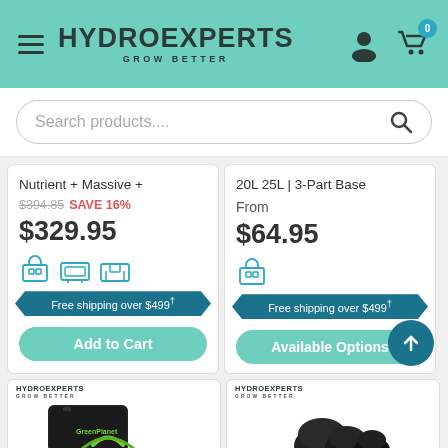HydroExperts - Grow Better
Search products....
Nutrient + Massive + | $394.85 SAVE 16% | $329.95 | Free shipping over $499† | Add to Cart
20L 25L | 3-Part Base From | $64.95 | Free shipping over $499† | Available Options
[Figure (screenshot): Product image card showing GreenPlanet hydroponics product with HydroExperts logo]
[Figure (screenshot): Product image card showing multiple hydroponics containers with HydroExperts logo]